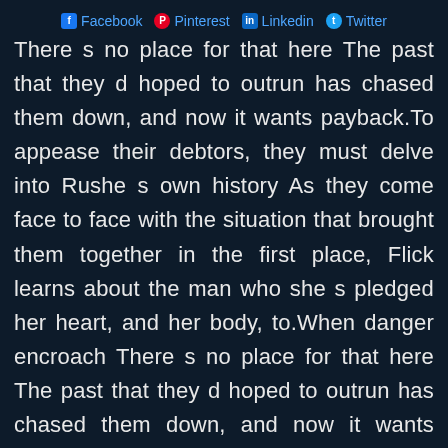Facebook  Pinterest  Linkedin  Twitter
There s no place for that here The past that they d hoped to outrun has chased them down, and now it wants payback.To appease their debtors, they must delve into Rushe s own history As they come face to face with the situation that brought them together in the first place, Flick learns about the man who she s pledged her heart, and her body, to.When danger encroach There s no place for that here The past that they d hoped to outrun has chased them down, and now it wants payback.To appease their debtors, they must delve into Rushe s own history As they come